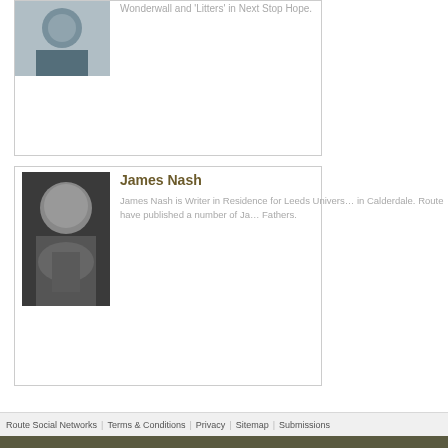[Figure (photo): Color photo of a man in a dark jacket and blue shirt, partially visible at top of page]
Wonderwall and 'Litters' in Next Stop Hope.
[Figure (photo): Black and white photo of James Nash, a bald man with glasses wearing a patterned shirt, hands clasped]
James Nash
James Nash is Writer in Residence for Leeds Univers... in Calderdale. Route have published a number of Ja... Fathers.
Route Social Networks | Terms & Conditions | Privacy | Sitemap | Submissions